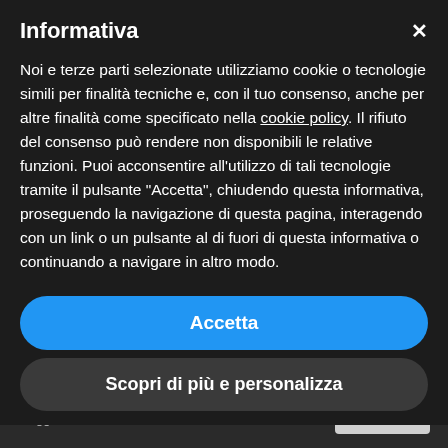Informativa
Noi e terze parti selezionate utilizziamo cookie o tecnologie simili per finalità tecniche e, con il tuo consenso, anche per altre finalità come specificato nella cookie policy. Il rifiuto del consenso può rendere non disponibili le relative funzioni. Puoi acconsentire all'utilizzo di tali tecnologie tramite il pulsante “Accetta”, chiudendo questa informativa, proseguendo la navigazione di questa pagina, interagendo con un link o un pulsante al di fuori di questa informativa o continuando a navigare in altro modo.
Accetta
Scopri di più e personalizza
Utilizzando il sito, accetti l'utilizzo dei cookie da parte nostra.
maggiori informazioni
Accetto